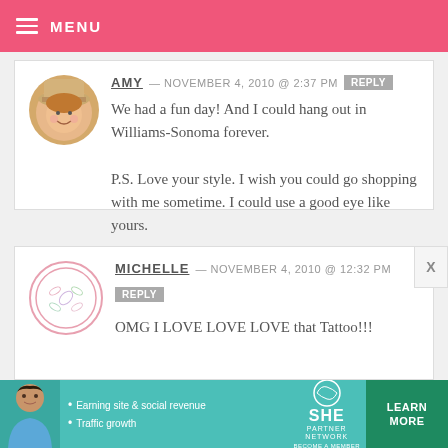MENU
AMY — NOVEMBER 4, 2010 @ 2:37 PM  REPLY
We had a fun day! And I could hang out in Williams-Sonoma forever.

P.S. Love your style. I wish you could go shopping with me sometime. I could use a good eye like yours.
MICHELLE — NOVEMBER 4, 2010 @ 12:32 PM  REPLY
OMG I LOVE LOVE LOVE that Tattoo!!!
[Figure (infographic): SHE Partner Network advertisement banner with woman photo, bullet points about Earning site & social revenue and Traffic growth, SHE logo, and Learn More button]